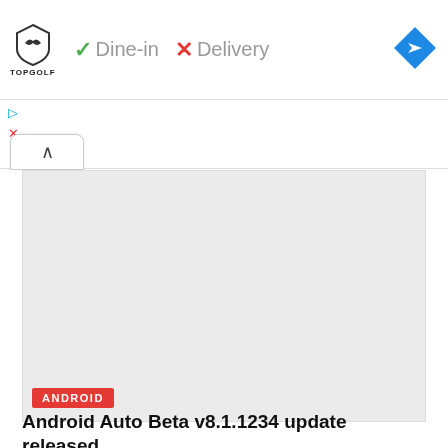[Figure (screenshot): Topgolf logo with shield graphic and text, followed by green checkmark and 'Dine-in', red X and 'Delivery', and a blue navigation diamond icon on the right]
[Figure (screenshot): Small blue play/triangle icon and red X icon stacked vertically on the left side below the ad bar]
[Figure (screenshot): White rounded tab button with upward caret (^) symbol]
[Figure (screenshot): Light grey rectangular map placeholder area]
ANDROID
Android Auto Beta v8.1.1234 update released
AUGUST 28, 2022